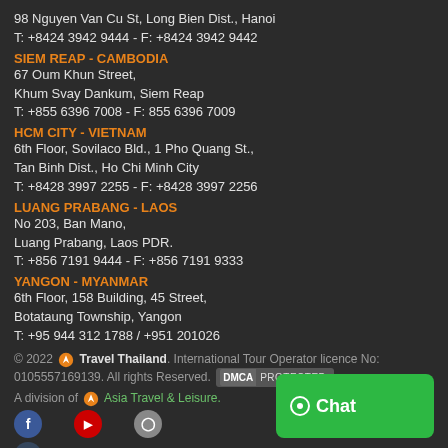98 Nguyen Van Cu St, Long Bien Dist., Hanoi
T: +8424 3942 9444 - F: +8424 3942 9442
SIEM REAP - CAMBODIA
67 Oum Khun Street,
Khum Svay Dankum, Siem Reap
T: +855 6396 7008 - F: 855 6396 7009
HCM CITY - VIETNAM
6th Floor, Sovilaco Bld., 1 Pho Quang St.,
Tan Binh Dist., Ho Chi Minh City
T: +8428 3997 2255 - F: +8428 3997 2256
LUANG PRABANG - LAOS
No 203, Ban Mano,
Luang Prabang, Laos PDR.
T: +856 7191 9444 - F: +856 7191 9333
YANGON - MYANMAR
6th Floor, 158 Building, 45 Street,
Botataung Township, Yangon
T: +95 944 312 1788 / +951 201026
© 2022 Travel Thailand. International Tour Operator licence No: 0105557169139. All rights Reserved. DMCA PROTECTED. A division of Asia Travel & Leisure.